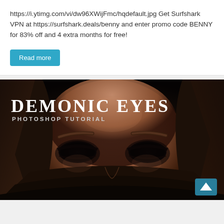https://i.ytimg.com/vi/dw96XWijFmc/hqdefault.jpg Get Surfshark VPN at https://surfshark.deals/benny and enter promo code BENNY for 83% off and 4 extra months for free!
[Figure (other): A teal/blue 'Read more' button]
[Figure (photo): Thumbnail image for a Photoshop tutorial titled 'Demonic Eyes Photoshop Tutorial'. Shows a woman's face from the nose up with darkened, demonic-looking eyes against a dark background. White serif text reads 'DEMONIC EYES' and below it 'PHOTOSHOP TUTORIAL'. A teal upward arrow scroll button appears in the bottom right corner.]